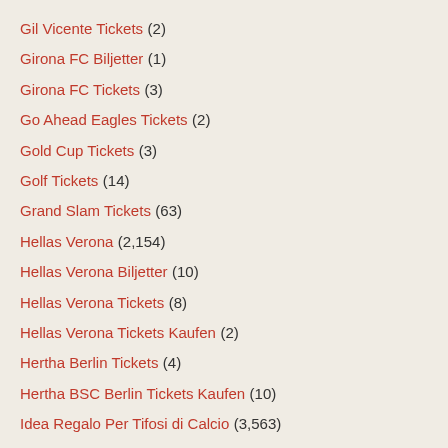Gil Vicente Tickets (2)
Girona FC Biljetter (1)
Girona FC Tickets (3)
Go Ahead Eagles Tickets (2)
Gold Cup Tickets (3)
Golf Tickets (14)
Grand Slam Tickets (63)
Hellas Verona (2,154)
Hellas Verona Biljetter (10)
Hellas Verona Tickets (8)
Hellas Verona Tickets Kaufen (2)
Hertha Berlin Tickets (4)
Hertha BSC Berlin Tickets Kaufen (10)
Idea Regalo Per Tifosi di Calcio (3,563)
Idea Regalo Tifosi Juventus (1)